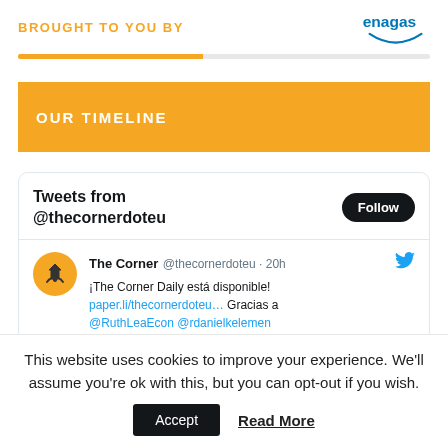BROUGHT TO YOU BY [Enagas logo]
OUR TIMELINE
[Figure (screenshot): Twitter widget showing tweets from @thecornerdoteu with a Follow button. Tweet from The Corner @thecornerdoteu 20h: ¡The Corner Daily está disponible! paper.li/thecornerdoteu… Gracias a @RuthLeaEcon @rdanielkelemen]
This website uses cookies to improve your experience. We'll assume you're ok with this, but you can opt-out if you wish.
Accept   Read More